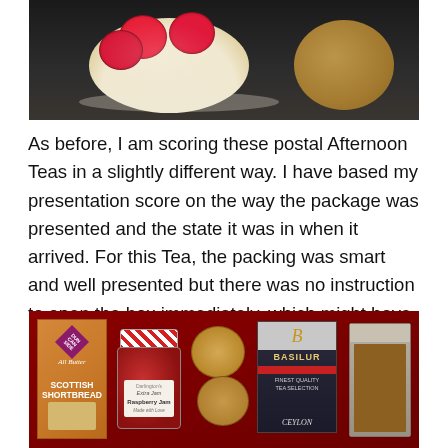[Figure (photo): Close-up photo of raspberry tarts on a dark background, showing pastry with cream and fresh raspberries on top, with a scone visible on the right edge.]
As before, I am scoring these postal Afternoon Teas in a slightly different way. I have based my presentation score on the way the package was presented and the state it was in when it arrived. For this Tea, the packing was smart and well presented but there was no instruction to open the box immediately, which might have been a problem if it was being sent as a gift.
[Figure (photo): Photo of an open red box containing an afternoon tea package with: Duncan Sideside All Butter Scottish Shortbread box, a jar of Darlington's Extra Jam Raspberry Jam, two scones, Basilur tea box, and a wrapped fruitcake package.]